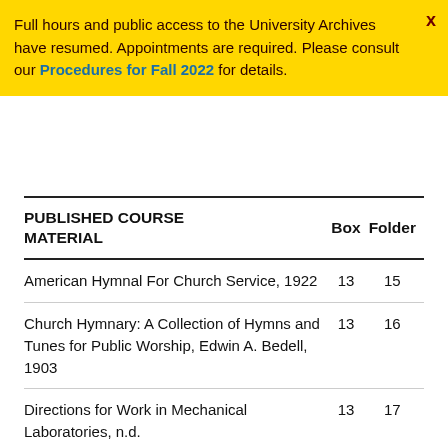Full hours and public access to the University Archives have resumed. Appointments are required. Please consult our Procedures for Fall 2022 for details.
| PUBLISHED COURSE MATERIAL | Box | Folder |
| --- | --- | --- |
| American Hymnal For Church Service, 1922 | 13 | 15 |
| Church Hymnary: A Collection of Hymns and Tunes for Public Worship, Edwin A. Bedell, 1903 | 13 | 16 |
| Directions for Work in Mechanical Laboratories, n.d. | 13 | 17 |
| Elements of Logick, John Andrews | 13 | 18 |